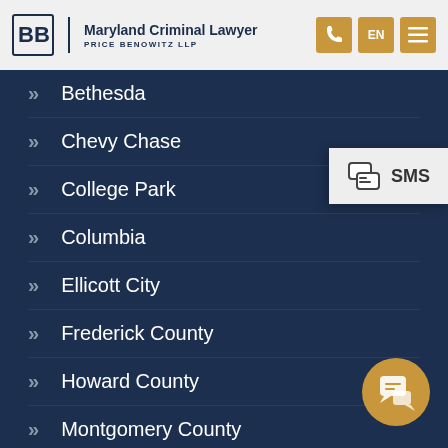Maryland Criminal Lawyer | Price Benowitz LLP
Bethesda
Chevy Chase
College Park
Columbia
Ellicott City
Frederick County
Howard County
Montgomery County
SMS